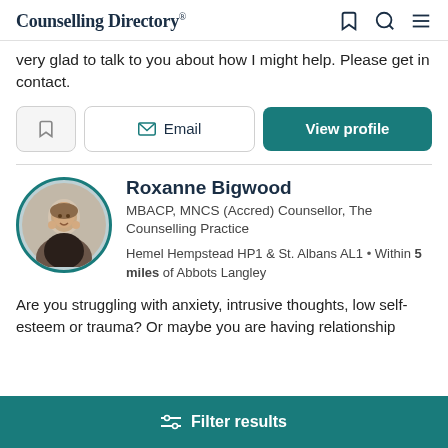Counselling Directory
very glad to talk to you about how I might help. Please get in contact.
Roxanne Bigwood
MBACP, MNCS (Accred) Counsellor, The Counselling Practice
Hemel Hempstead HP1 & St. Albans AL1 • Within 5 miles of Abbots Langley
Are you struggling with anxiety, intrusive thoughts, low self-esteem or trauma? Or maybe you are having relationship